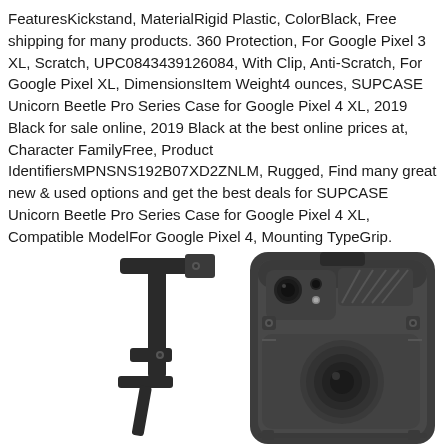FeaturesKickstand, MaterialRigid Plastic, ColorBlack, Free shipping for many products. 360 Protection, For Google Pixel 3 XL, Scratch, UPC0843439126084, With Clip, Anti-Scratch, For Google Pixel XL, DimensionsItem Weight4 ounces, SUPCASE Unicorn Beetle Pro Series Case for Google Pixel 4 XL, 2019 Black for sale online, 2019 Black at the best online prices at, Character FamilyFree, Product IdentifiersMPNSNS192B07XD2ZNLM, Rugged, Find many great new & used options and get the best deals for SUPCASE Unicorn Beetle Pro Series Case for Google Pixel 4 XL, Compatible ModelFor Google Pixel 4, Mounting TypeGrip.
[Figure (photo): Product photo of SUPCASE Unicorn Beetle Pro Series Case for Google Pixel 4 XL showing the black rugged case with belt clip/kickstand on the left and the back of the case on the right, both rendered in dark gray/black tones against a white background.]